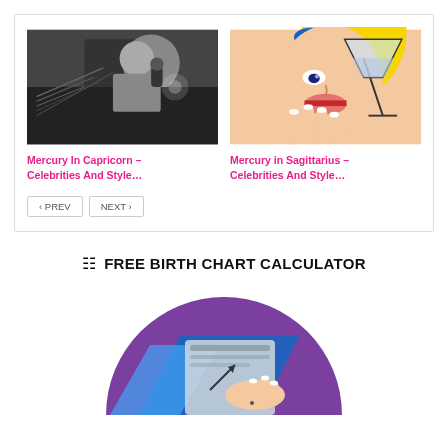[Figure (photo): Black and white photo of a woman operating telephone switchboard equipment]
[Figure (illustration): Pop art comic style illustration of a woman holding a martini glass]
Mercury In Capricorn – Celebrities And Style…
Mercury in Sagittarius – Celebrities And Style…
PREV
NEXT
FREE BIRTH CHART CALCULATOR
[Figure (illustration): Circular illustration of a hand with birth chart calculator graphic, purple background]